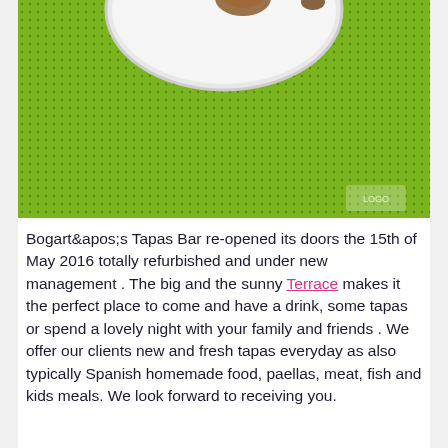[Figure (photo): Close-up photo of a white plate/bowl on a bright green textured fabric/mesh surface. The bottom of the plate is visible in the upper portion of the image. A small watermark logo is visible in the lower right corner of the photo.]
Bogart&apos;s Tapas Bar re-opened its doors the 15th of May 2016 totally refurbished and under new management . The big and the sunny Terrace makes it the perfect place to come and have a drink, some tapas or spend a lovely night with your family and friends . We offer our clients new and fresh tapas everyday as also typically Spanish homemade food, paellas, meat, fish and kids meals. We look forward to receiving you.